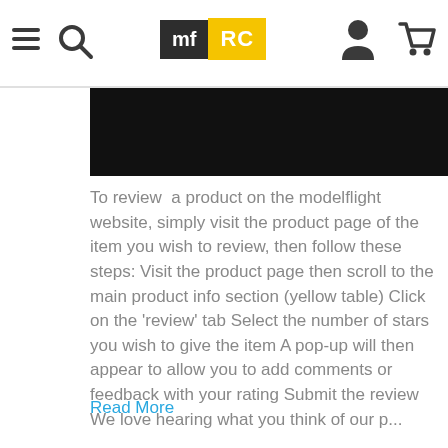mf RC [navigation bar with hamburger menu, search icon, logo, user icon, cart icon]
[Figure (photo): Dark black image band partially visible at top of content area]
To review  a product on the modelflight website, simply visit the product page of the item you wish to review, then follow these steps: Visit the product page then scroll to the main product info section (yellow table) Click on the 'review' tab Select the number of stars you wish to give the item A pop-up will then appear to allow you to add comments or feedback with your rating Submit the review We love hearing what you think of our p...
Read More
More from:
FAQs
Close Blog Filter
Search
Search posts